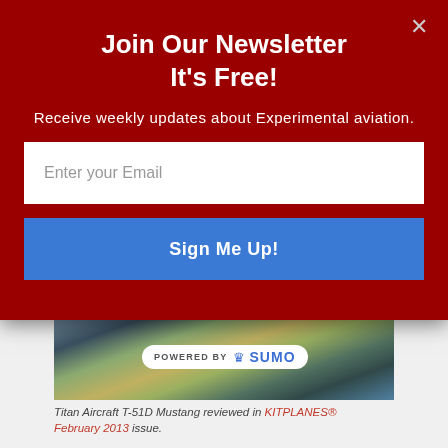Join Our Newsletter
It's Free!
Receive weekly updates about Experimental aviation.
Enter your Email
Sign Me Up!
[Figure (photo): Titan Aircraft T-51D Mustang on ground, with 'POWERED BY SUMO' badge overlaid]
Titan Aircraft T-51D Mustang reviewed in KITPLANES® February 2013 issue.
Estimated build time is 1600 hours. Standard airframe kit prices start at $54,900, not including engine or any other options